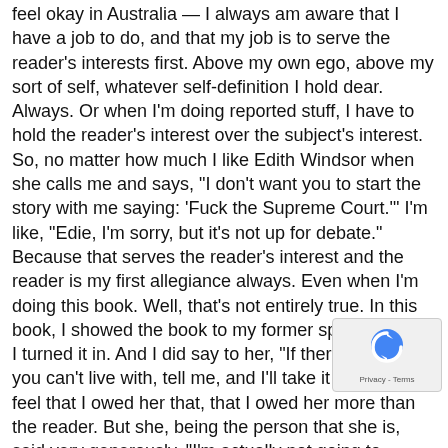feel okay in Australia — I always am aware that I have a job to do, and that my job is to serve the reader's interests first. Above my own ego, above my sort of self, whatever self-definition I hold dear. Always. Or when I'm doing reported stuff, I have to hold the reader's interest over the subject's interest. So, no matter how much I like Edith Windsor when she calls me and says, "I don't want you to start the story with me saying: 'Fuck the Supreme Court.'" I'm like, "Edie, I'm sorry, but it's not up for debate." Because that serves the reader's interest and the reader is my first allegiance always. Even when I'm doing this book. Well, that's not entirely true. In this book, I showed the book to my former spouse before I turned it in. And I did say to her, "If there's anything you can't live with, tell me, and I'll take it out." I did feel that I owed her that, that I owed her more than the reader. But she, being the person that she is, said very generously, "I'm actually not going to censor you. This is your story. You do it how you have to do it."
Rumpus: That reminds me of when you write: "You spend your entire life picking people apart. You use them and then rid yourself of them the way you want to rid yourself of your spouse." It's so difficult to write about other people, especially people whom you care about, especially about sensitive subjects, such as infidelity and alcoholism. For me, this creates a temptation to fictionalize. But you write that you "have never been much good at making things up." Did